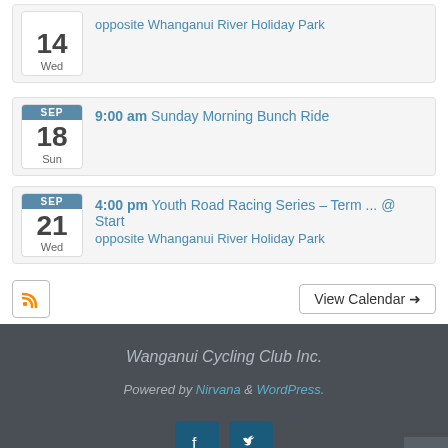14 Wed — opposite Whanganui River Holiday Park
SEP 18 Sun — 9:00 am Sunday Morning Bunch Ride
SEP 21 Wed — 4:00 pm Youth Road Racing Series – Term ... @ Start opposite Whanganui River Holiday Park
View Calendar →
Wanganui Cycling Club Inc.
Powered by Nirvana & WordPress.